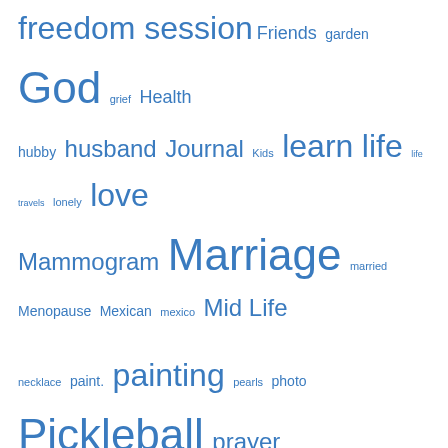[Figure (other): A tag cloud with words of varying sizes in blue, including: freedom session, Friends, garden, God, grief, Health, hubby, husband, Journal, Kids, learn, life, life travels, lonely, love, Mammogram, Marriage, married, Menopause, Mexican, mexico, Mid Life, necklace, paint., painting, pearls, photo, Pickleball, prayer, recovery, recovery ministry, relationships, retirement, senior, seniors, snow, Snowbirds, SPCA, stones, story, sunset, surrender, Thomas the Cat, time, travel, Turquoise, vacation, visit, wedding anniversary, wordpress, write, Writer, writing]
Categories
A Cat's Life
Art/Draw/Paint/Create
Faith Path
Life Lessons